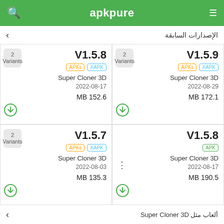apkpure
الإصدارات السابقة
2 Variants V1.5.8 APKs XAPK Super Cloner 3D 2022-08-17 MB 152.6
2 Variants V1.5.9 APKs XAPK Super Cloner 3D 2022-08-29 MB 172.1
2 Variants V1.5.7 APKs XAPK Super Cloner 3D 2022-08-03 MB 135.3
V1.5.8 APK Super Cloner 3D 2022-08-17 MB 190.5
ألعاب مثل Super Cloner 3D